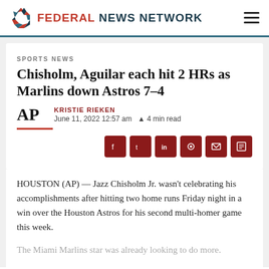FEDERAL NEWS NETWORK
SPORTS NEWS
Chisholm, Aguilar each hit 2 HRs as Marlins down Astros 7-4
KRISTIE RIEKEN
June 11, 2022 12:57 am
4 min read
HOUSTON (AP) — Jazz Chisholm Jr. wasn't celebrating his accomplishments after hitting two home runs Friday night in a win over the Houston Astros for his second multi-homer game this week.
The Miami Marlins star was already looking to do more.
"I wouldn't mind another one tomorrow and have three," he